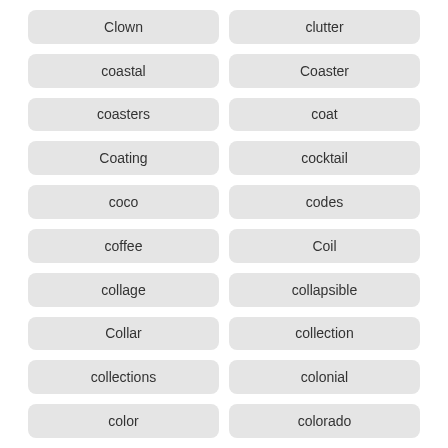Clown
clutter
coastal
Coaster
coasters
coat
Coating
cocktail
coco
codes
coffee
Coil
collage
collapsible
Collar
collection
collections
colonial
color
colorado